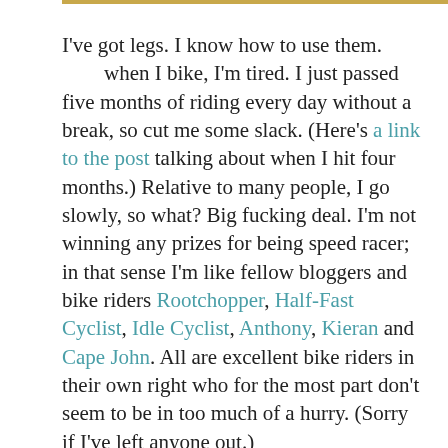I've got legs. I know how to use them.        when I bike, I'm tired. I just passed five months of riding every day without a break, so cut me some slack. (Here's a link to the post talking about when I hit four months.) Relative to many people, I go slowly, so what? Big fucking deal. I'm not winning any prizes for being speed racer; in that sense I'm like fellow bloggers and bike riders Rootchopper, Half-Fast Cyclist, Idle Cyclist, Anthony, Kieran and Cape John. All are excellent bike riders in their own right who for the most part don't seem to be in too much of a hurry. (Sorry if I've left anyone out.)
But we all get there, and that's the key: we don't give up. Or we have to take a break but eventually we